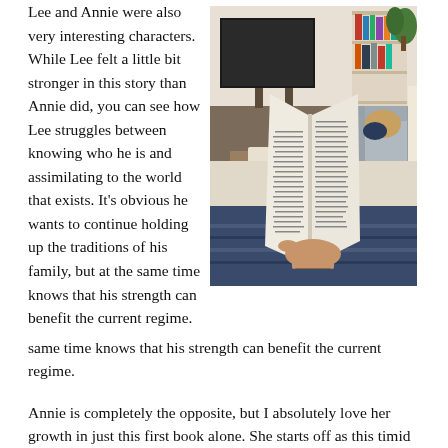Lee and Annie were also very interesting characters. While Lee felt a little bit stronger in this story than Annie did, you can see how Lee struggles between knowing who he is and assimilating to the world that exists. It’s obvious he wants to continue holding up the traditions of his family, but at the same time knows that his strength can benefit the current regime.
[Figure (photo): A person sitting on a couch, holding an open book. Behind them is a living room with a TV, bookshelf, plants, and a gray armchair.]
Annie is completely the opposite, but I absolutely love her growth in just this first book alone. She starts off as this timid person who barely speaks up in class to turning into the